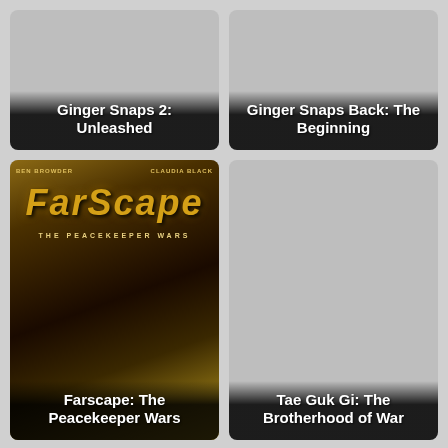[Figure (photo): Movie poster placeholder - Ginger Snaps 2: Unleashed, gray background with title overlay]
[Figure (photo): Movie poster placeholder - Ginger Snaps Back: The Beginning, gray background with title overlay]
[Figure (photo): Movie poster - Farscape: The Peacekeeper Wars, stylized sci-fi poster with characters Ben Browder and Claudia Black]
[Figure (photo): Movie poster placeholder - Tae Guk Gi: The Brotherhood of War, gray background with title overlay]
[Figure (photo): Movie poster partial - yellow tones, bottom portion visible]
[Figure (photo): Movie poster partial - blue/teal tones, bottom portion visible]